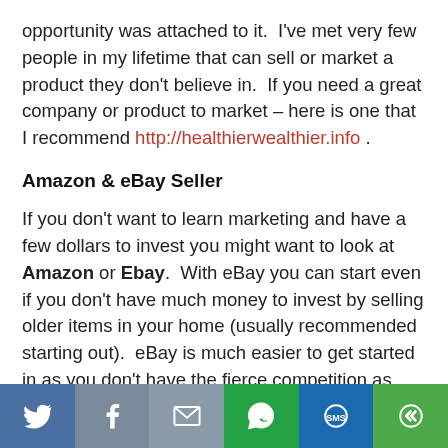opportunity was attached to it.  I've met very few people in my lifetime that can sell or market a product they don't believe in.  If you need a great company or product to market – here is one that I recommend http://healthierwealthier.info .
Amazon & eBay Seller
If you don't want to learn marketing and have a few dollars to invest you might want to look at Amazon or Ebay.  With eBay you can start even if you don't have much money to invest by selling older items in your home (usually recommended starting out).  eBay is much easier to get started in as you don't have the fierce competition as you do with Amazon as its more of an online flea market where as with Amazon, you'll have to get really good at packing or finding...
[Figure (infographic): Social sharing bar with Twitter, Facebook, Email, WhatsApp, SMS, and More icons]